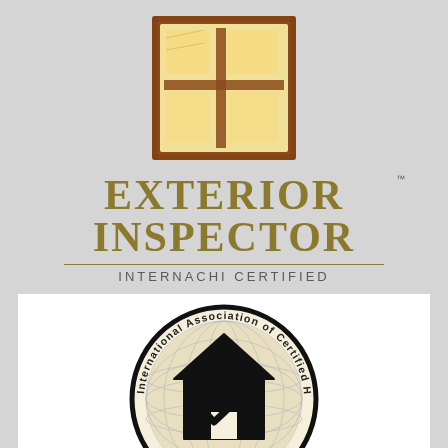[Figure (logo): InterNACHI Exterior Inspector badge logo — a stylized house/window icon in brown and tan/yellow tones with a rough textured border]
EXTERIOR INSPECTOR
INTERNACHI CERTIFIED
[Figure (logo): International Association of Certified Home Inspectors circular seal — globe background with house silhouette containing a checkmark in the center, ribbon banner at bottom, bold black outline]